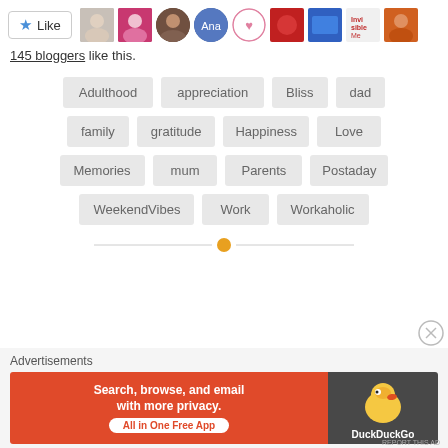[Figure (other): Like button and blogger avatar thumbnails row]
145 bloggers like this.
Adulthood
appreciation
Bliss
dad
family
gratitude
Happiness
Love
Memories
mum
Parents
Postaday
WeekendVibes
Work
Workaholic
[Figure (other): Section divider with orange dot]
Advertisements
[Figure (other): DuckDuckGo advertisement banner: Search, browse, and email with more privacy. All in One Free App]